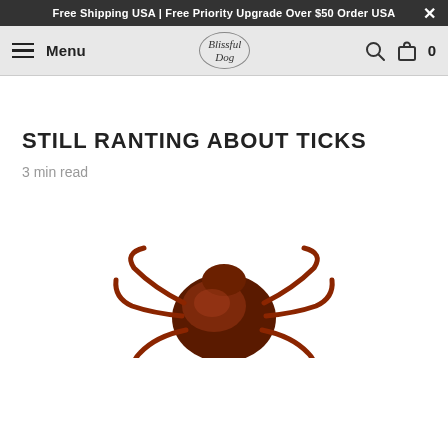Free Shipping USA | Free Priority Upgrade Over $50 Order USA
[Figure (logo): Blissful Dog logo with hamburger menu and Menu text on left, search and cart icons on right]
STILL RANTING ABOUT TICKS
3 min read
[Figure (photo): Close-up photo of a tick (reddish-brown) seen from above, with legs visible, on white background]